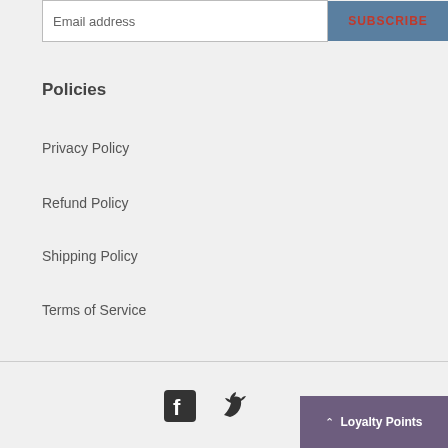Email address
SUBSCRIBE
Policies
Privacy Policy
Refund Policy
Shipping Policy
Terms of Service
Facebook icon, Twitter icon, Loyalty Points button